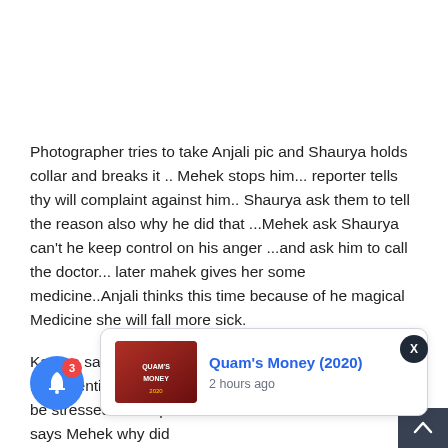Photographer tries to take Anjali pic and Shaurya holds collar and breaks it .. Mehek stops him... reporter tells thy will complaint against him.. Shaurya ask them to tell the reason also why he did that ...Mehek ask Shaurya can't he keep control on his anger ...and ask him to call the doctor... later mahek gives her some medicine..Anjali thinks this time because of he magical Medicine she will fall more sick.
Karuna says is she okay? Doctor says she has hyperventilated. Take care of her health. She shouldn't be stressed or her panic attacks will increase. Karuna says Mehek why did... Karuna says yo... even kno...
[Figure (screenshot): Notification popup showing movie thumbnail for 'Quam's Money (2020)' with timestamp '2 hours ago', overlaid on page content]